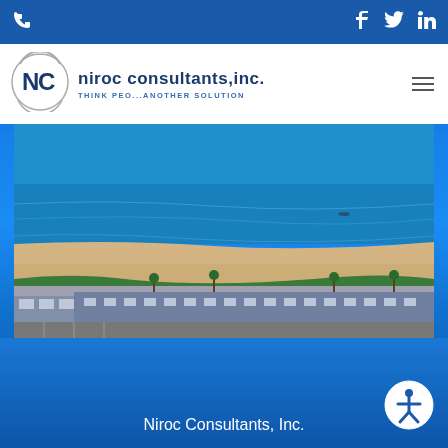Phone icon | Facebook | Twitter | LinkedIn
[Figure (logo): Niroc Consultants Inc logo - circular NC monogram with arrows]
niroc consultants,inc.
THINK PEO...ANOTHER SOLUTION
[Figure (photo): Aerial view of coastal beach resort area with ocean, sandy beach, and hotel/resort buildings along the shoreline]
Niroc Consultants, Inc.